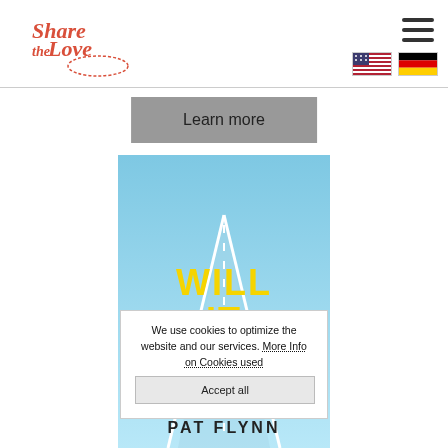[Figure (logo): Share the Love logo with stylized text in coral/red color with a circular accent]
[Figure (illustration): Hamburger menu icon (three horizontal lines) in top right corner]
[Figure (illustration): US and German flag icons in top right area]
Learn more
[Figure (photo): Book cover of 'Will It Fly?' by Pat Flynn showing a runway perspective in blue sky]
We use cookies to optimize the website and our services. More Info on Cookies used
Accept all